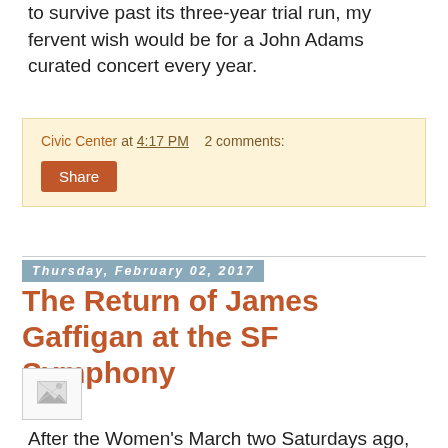to survive past its three-year trial run, my fervent wish would be for a John Adams curated concert every year.
Civic Center at 4:17 PM   2 comments:
Share
Thursday, February 02, 2017
The Return of James Gaffigan at the SF Symphony
[Figure (photo): Broken/missing image placeholder thumbnail]
After the Women's March two Saturdays ago, we went to Davies Hall to hear guest conductor James Gaffigan lead the San Francisco Symphony. Gaffigan was the associate conductor of the orchestra from 2006 and 2009 before launching an international career based mostly out of Europe. I was a big fan when he was the associate, particularly in his handling of Mozart with the SF Symphony, so I went into the Saturday concert with high hopes.